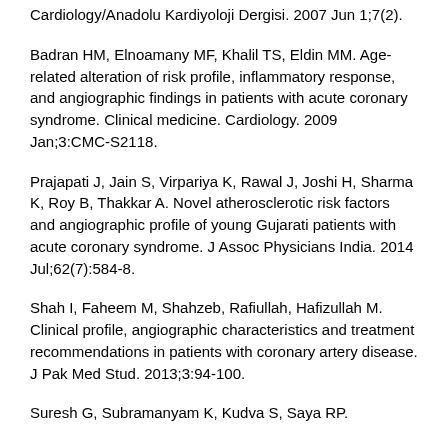Cardiology/Anadolu Kardiyoloji Dergisi. 2007 Jun 1;7(2).
Badran HM, Elnoamany MF, Khalil TS, Eldin MM. Age-related alteration of risk profile, inflammatory response, and angiographic findings in patients with acute coronary syndrome. Clinical medicine. Cardiology. 2009 Jan;3:CMC-S2118.
Prajapati J, Jain S, Virpariya K, Rawal J, Joshi H, Sharma K, Roy B, Thakkar A. Novel atherosclerotic risk factors and angiographic profile of young Gujarati patients with acute coronary syndrome. J Assoc Physicians India. 2014 Jul;62(7):584-8.
Shah I, Faheem M, Shahzeb, Rafiullah, Hafizullah M. Clinical profile, angiographic characteristics and treatment recommendations in patients with coronary artery disease. J Pak Med Stud. 2013;3:94-100.
Suresh G, Subramanyam K, Kudva S, Saya RP.